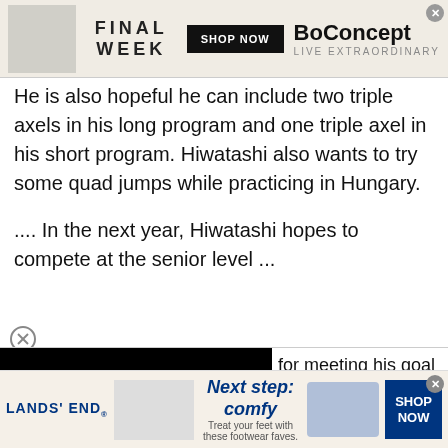[Figure (other): Top banner advertisement: BoConcept 'FINAL WEEK' with 'SHOP NOW' button and furniture image on left]
He is also hopeful he can include two triple axels in his long program and one triple axel in his short program. Hiwatashi also wants to try some quad jumps while practicing in Hungary.
.... In the next year, Hiwatashi hopes to compete at the senior level ...
for meeting his goal of or Worlds :yay:.
thread.
[Figure (other): Bottom banner advertisement: Lands' End 'Next step: comfy' sandals ad with 'SHOP NOW' button]